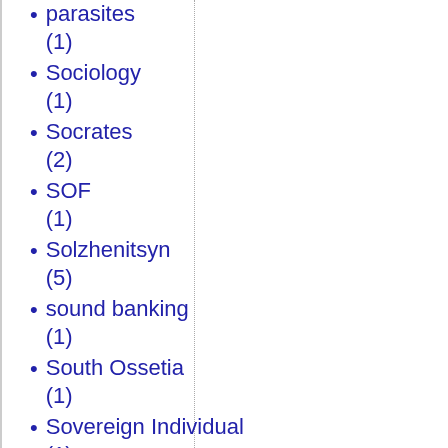parasites (1)
Sociology (1)
Socrates (2)
SOF (1)
Solzhenitsyn (5)
sound banking (1)
South Ossetia (1)
Sovereign Individual (1)
soveregin debt (2)
Soviet Union (1)